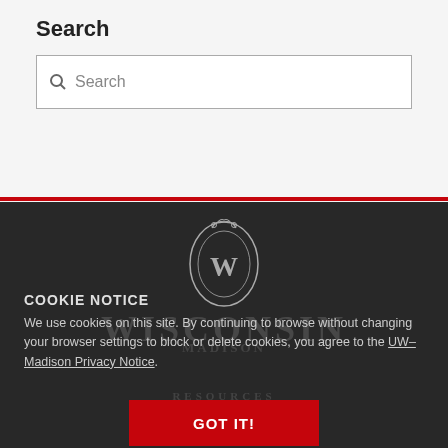Search
Search (input placeholder)
[Figure (logo): University of Wisconsin-Madison crest/shield logo in outline style, light gray on dark background]
WISCONSIN MADISON RESOURCES Library (watermark text behind cookie notice)
COOKIE NOTICE
We use cookies on this site. By continuing to browse without changing your browser settings to block or delete cookies, you agree to the UW–Madison Privacy Notice.
GOT IT!